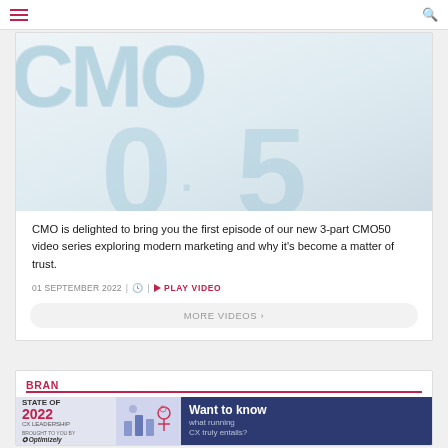Navigation bar with hamburger menu and search icon
[Figure (photo): CMO50 logo/text rendered in light blue stippled/dotted lettering on a cream/off-white background, showing large stylized CMO50 text]
CMO is delighted to bring you the first episode of our new 3-part CMO50 video series exploring modern marketing and why it's become a matter of trust.
01 SEPTEMBER 2022 | ⏱ | ▶ PLAY VIDEO
MORE VIDEOS ›
BRAN
[Figure (infographic): Advertisement banner: State of CX Leadership 2022, brought to you by Optimizely. Right side shows dark blue panel with text 'Want to know what running CX truly entails?']